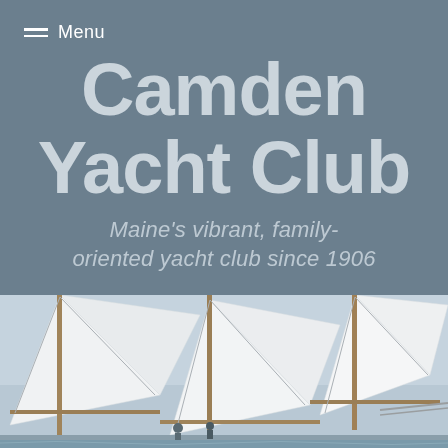Menu
Camden Yacht Club
Maine’s vibrant, family-oriented yacht club since 1906
[Figure (photo): Photograph of sailboats with white sails and wooden masts, people visible on deck, blue sky in background]